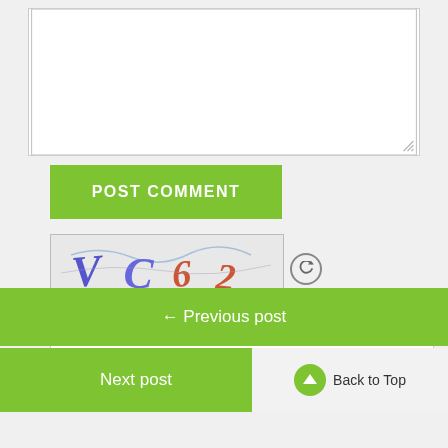[Figure (screenshot): Textarea input box for comment form, with resize handle at bottom right]
[Figure (screenshot): Green POST COMMENT button]
[Figure (screenshot): CAPTCHA image showing handwritten-style text 'VC62' with a refresh icon]
[Figure (screenshot): CAPTCHA code text input field]
CAPTCHA Code
← Previous post
Next post
Back to Top